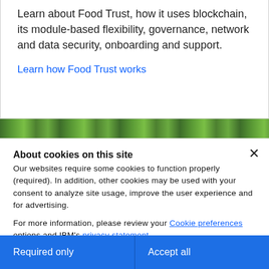Learn about Food Trust, how it uses blockchain, its module-based flexibility, governance, network and data security, onboarding and support.
Learn how Food Trust works
[Figure (photo): Green foliage/plant image strip]
About cookies on this site
Our websites require some cookies to function properly (required). In addition, other cookies may be used with your consent to analyze site usage, improve the user experience and for advertising.

For more information, please review your Cookie preferences options and IBM's privacy statement.